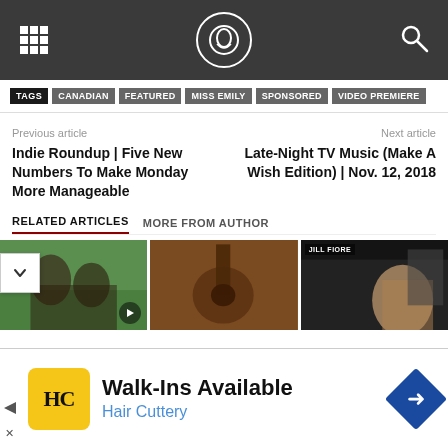[Navigation header with grid icon, logo, and search icon]
TAGS | CANADIAN | FEATURED | MISS EMILY | SPONSORED | VIDEO PREMIERE
Previous article
Next article
Indie Roundup | Five New Numbers To Make Monday More Manageable
Late-Night TV Music (Make A Wish Edition) | Nov. 12, 2018
RELATED ARTICLES   MORE FROM AUTHOR
[Figure (photo): Three thumbnail images for related articles]
[Figure (infographic): Advertisement: Walk-Ins Available, Hair Cuttery, with yellow HC logo and blue diamond arrow sign]